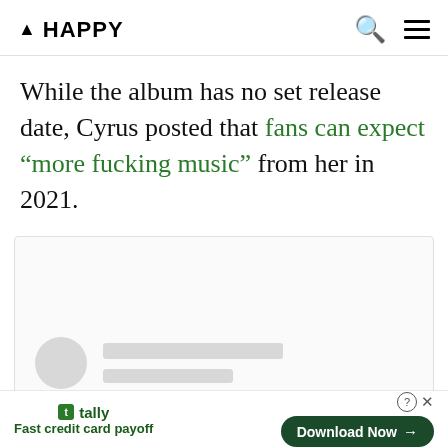▲ HAPPY
While the album has no set release date, Cyrus posted that fans can expect “more fucking music” from her in 2021.
[Figure (screenshot): Embedded social media post placeholder with blurred avatar circle and two gray placeholder lines for username and handle.]
tally Fast credit card payoff | Download Now →